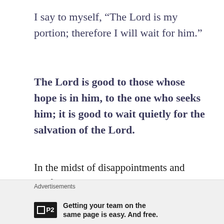I say to myself, “The Lord is my portion; therefore I will wait for him.”
The Lord is good to those whose hope is in him, to the one who seeks him; it is good to wait quietly for the salvation of the Lord.
In the midst of disappointments and conflicts in our lives that leave us feeling alone or left out, remember that God wouldn’t put you through anything that wasn’t beneficial to you somehow (yes, that includes heartbreak too).
Advertisements
Getting your team on the same page is easy. And free.